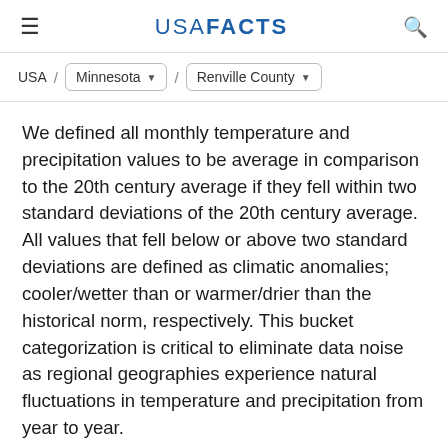USA FACTS
USA / Minnesota / Renville County
We defined all monthly temperature and precipitation values to be average in comparison to the 20th century average if they fell within two standard deviations of the 20th century average. All values that fell below or above two standard deviations are defined as climatic anomalies; cooler/wetter than or warmer/drier than the historical norm, respectively. This bucket categorization is critical to eliminate data noise as regional geographies experience natural fluctuations in temperature and precipitation from year to year.
Although the threshold for what is considered extreme